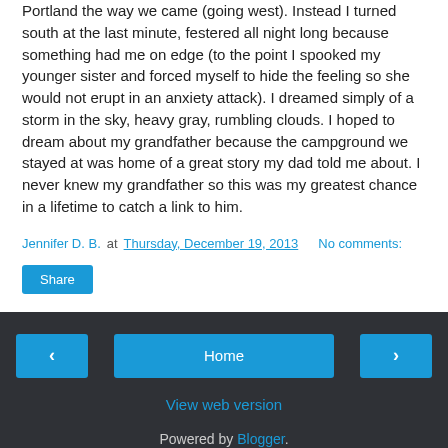Portland the way we came (going west). Instead I turned south at the last minute, festered all night long because something had me on edge (to the point I spooked my younger sister and forced myself to hide the feeling so she would not erupt in an anxiety attack). I dreamed simply of a storm in the sky, heavy gray, rumbling clouds. I hoped to dream about my grandfather because the campground we stayed at was home of a great story my dad told me about. I never knew my grandfather so this was my greatest chance in a lifetime to catch a link to him.
Jennifer D. B. at Thursday, December 19, 2013  No comments:
Share
‹  Home  ›  View web version  Powered by Blogger.